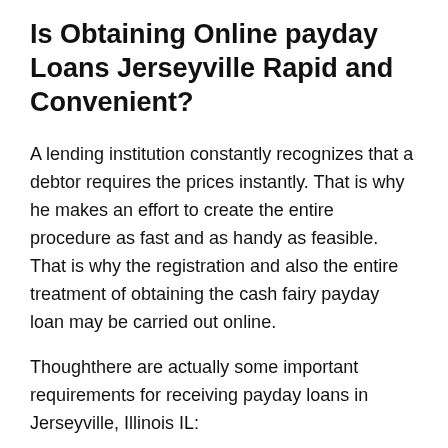Is Obtaining Online payday Loans Jerseyville Rapid and Convenient?
A lending institution constantly recognizes that a debtor requires the prices instantly. That is why he makes an effort to create the entire procedure as fast and as handy as feasible. That is why the registration and also the entire treatment of obtaining the cash fairy payday loan may be carried out online.
Thoughthere are actually some important requirements for receiving payday loans in Jerseyville, Illinois IL:
1. The payday ought to be clear of some other lions